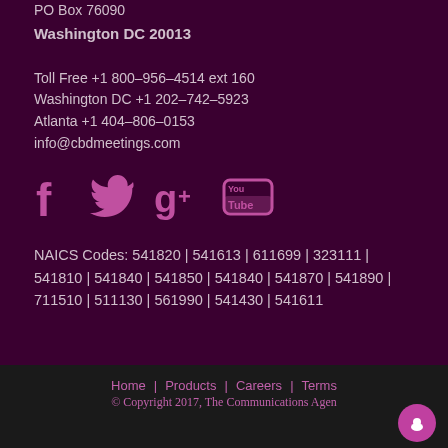PO Box 76090
Washington DC 20013
Toll Free +1 800-956-4514 ext 160
Washington DC +1 202-742-5923
Atlanta +1 404-806-0153
info@cbdmeetings.com
[Figure (illustration): Social media icons: Facebook, Twitter, Google+, YouTube]
NAICS Codes: 541820 | 541613 | 611699 | 323111 | 541810 | 541840 | 541850 | 541840 | 541870 | 541890 | 711510 | 511130 | 561990 | 541430 | 541611
Home | Products | Careers | Terms
© Copyright 2017, The Communications Agen